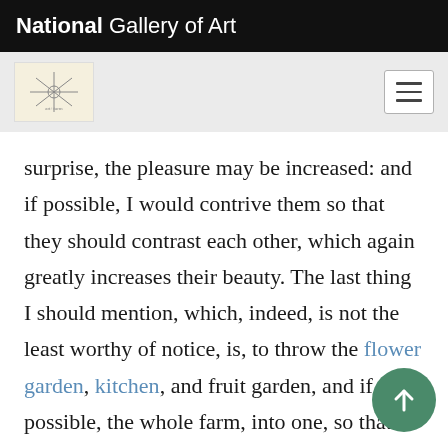National Gallery of Art
[Figure (logo): Navigation bar with a small decorative logo box on the left and a hamburger menu icon on the right, on a light gray background]
surprise, the pleasure may be increased: and if possible, I would contrive them so that they should contrast each other, which again greatly increases their beauty. The last thing I should mention, which, indeed, is not the least worthy of notice, is, to throw the flower garden, kitchen, and fruit garden, and if possible, the whole farm, into one, so that they may appear as links of the same chain, and may mutually contribute to the beauties of the whole. If you could send me an accurate plan of the situation of your ground, describing part of the hollows, risings, and the opportunities you have